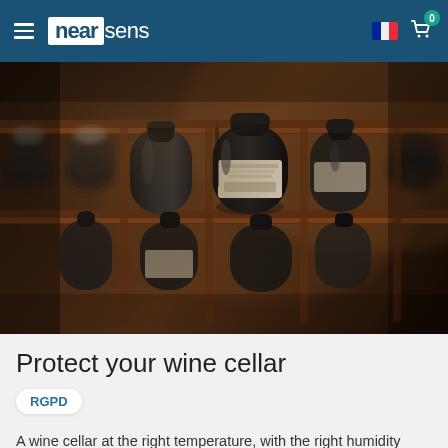nearsens — navigation header with logo, French flag, and cart icon (0 items)
[Figure (photo): Close-up photograph of aged wine bottles lying horizontally in a wooden wine rack, with dusty dark glass and old labels visible.]
Protect your wine cellar
RGPD
A wine cellar at the right temperature, with the right humidity level is an ideal place for the conservation and maturation of